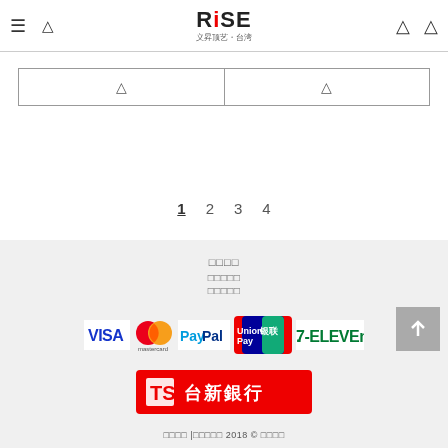RiSE 义昇顶艺·台湾 — navigation header with logo and icons
| [search icon] | [search icon] |
| --- | --- |
|  |
1  2  3  4
□□□□
□□□□□
□□□□□
[Figure (logo): Payment method logos: VISA, Mastercard, PayPal, UnionPay, 7-ELEVEN]
[Figure (logo): 台新銀行 (Taishin Bank) logo on red background]
□□□□ |□□□□□ 2018 © □□□□